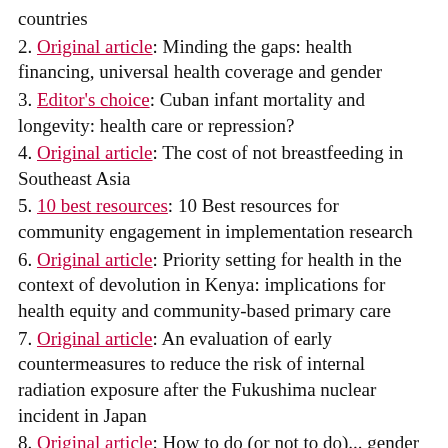countries
2. Original article: Minding the gaps: health financing, universal health coverage and gender
3. Editor's choice: Cuban infant mortality and longevity: health care or repression?
4. Original article: The cost of not breastfeeding in Southeast Asia
5. 10 best resources: 10 Best resources for community engagement in implementation research
6. Original article: Priority setting for health in the context of devolution in Kenya: implications for health equity and community-based primary care
7. Original article: An evaluation of early countermeasures to reduce the risk of internal radiation exposure after the Fukushima nuclear incident in Japan
8. Original article: How to do (or not to do)... gender analysis in health systems research
9. Original article: Reimagining infertility: a critical